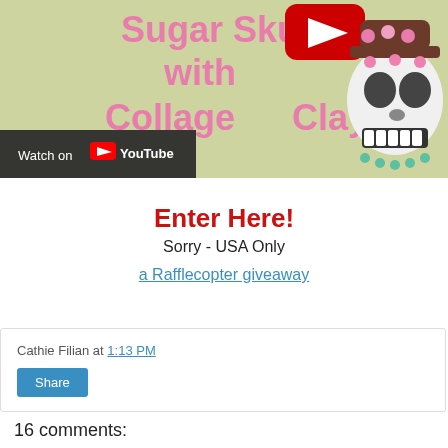[Figure (screenshot): YouTube video thumbnail for 'Sugar Skull with Collage Clay' craft tutorial, showing decorative sugar skull and pink text on light yellow-green background, with YouTube play button icon and 'Watch on YouTube' bar at bottom left.]
Enter Here!
Sorry - USA Only
a Rafflecopter giveaway
Cathie Filian at 1:13 PM
Share
16 comments: